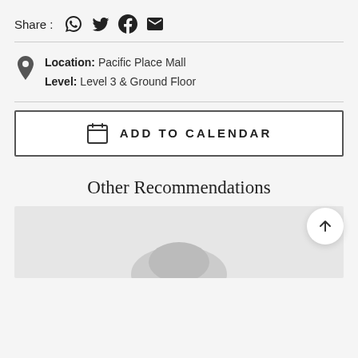Share : [whatsapp] [twitter] [facebook] [email]
Location: Pacific Place Mall
Level: Level 3 & Ground Floor
ADD TO CALENDAR
Other Recommendations
[Figure (photo): Partially visible placeholder/thumbnail image at the bottom of the page]